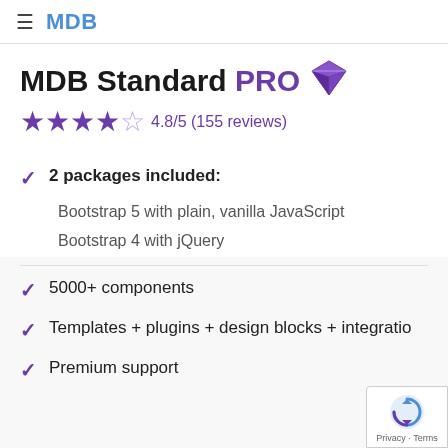MDB
MDB Standard PRO
4.8/5 (155 reviews)
2 packages included:
Bootstrap 5 with plain, vanilla JavaScript
Bootstrap 4 with jQuery
5000+ components
Templates + plugins + design blocks + integratio
Premium support